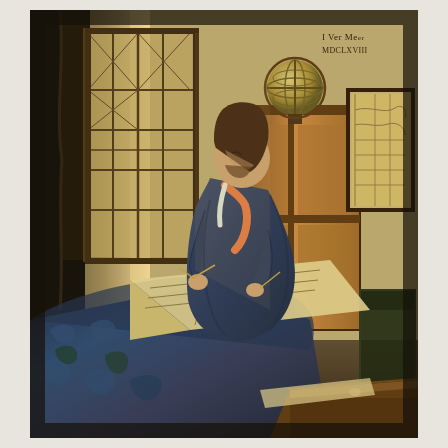[Figure (illustration): Johannes Vermeer's painting 'The Geographer' (c. 1668–1669). A scholar in a dark blue robe leans over a table covered with a richly patterned blue and green cloth, studying a large unrolled map or chart with a compass divider in his right hand. Light enters from tall leaded-glass windows on the left. Behind him stands a large wooden cabinet with a celestial globe on top. On the wall hangs a framed map. To the right is an ornate chair. In the upper right of the painting is an inscription reading 'I Ver Meer / MDCLXVIII'. A wooden box is visible in the lower right foreground.]